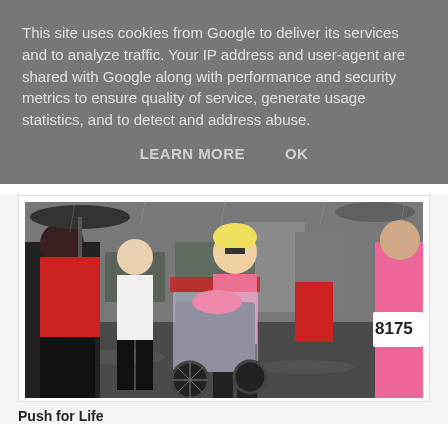This site uses cookies from Google to deliver its services and to analyze traffic. Your IP address and user-agent are shared with Google along with performance and security metrics to ensure quality of service, generate usage statistics, and to detect and address abuse.
LEARN MORE   OK
[Figure (photo): A group of women walking in the rain during a charity race. Some wear pink tops and carry umbrellas. One woman pushes another person in a wheelchair covered with a clear plastic rain cover. A participant with bib number 8175 is visible on the right.]
Push for Life